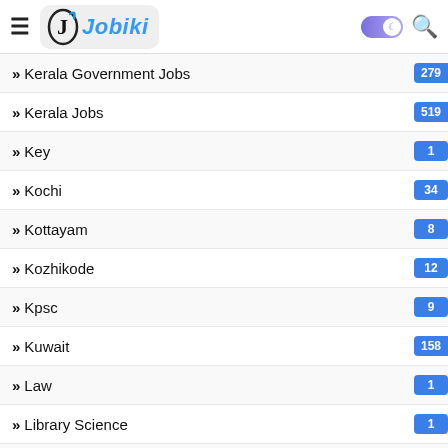Jobiki
Kerala Government Jobs
Kerala Jobs
Key
Kochi
Kottayam
Kozhikode
Kpsc
Kuwait
Law
Library Science
Life Science
LLB